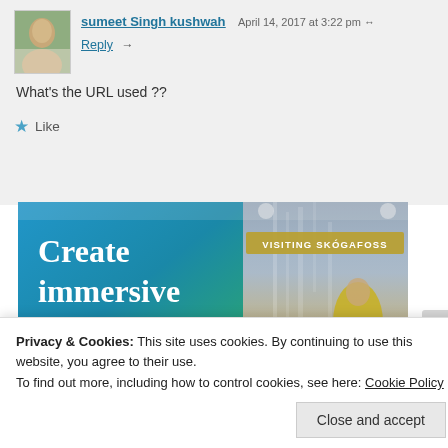sumeet Singh kushwah — April 14, 2017 at 3:22 pm
Reply →
What's the URL used ??
★ Like
[Figure (screenshot): Advertisement banner showing 'Create immersive stories.' text on blue-green gradient background with a phone showing 'VISITING SKÓGAFOSS' waterfall scene on the right side.]
Privacy & Cookies: This site uses cookies. By continuing to use this website, you agree to their use.
To find out more, including how to control cookies, see here: Cookie Policy
Close and accept